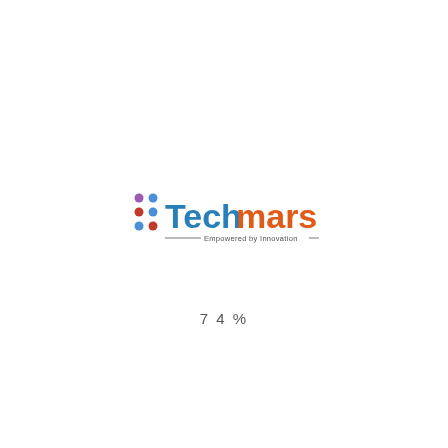[Figure (logo): Techmars logo with dot-grid icon on the left and text 'Techmars' in blue and orange, with tagline 'Empowered by Innovation' below]
74%